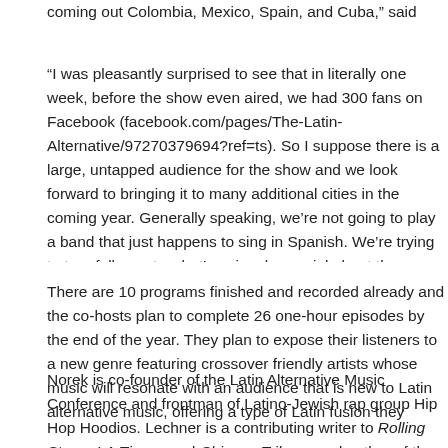coming out Colombia, Mexico, Spain, and Cuba," said Norek by email.
"I was pleasantly surprised to see that in literally one week, before the show even aired, we had 300 fans on Facebook (facebook.com/pages/The-Latin-Alternative/97270379694?ref=ts). So I suppose there is a large, untapped audience for the show and we look forward to bringing it to many additional cities in the coming year. Generally speaking, we're not going to play a band that just happens to sing in Spanish. We're trying to turn folks on to what's uniquely special about the genre, whether it being cumbia-rock, electro-cumbia, norteno-hiphop, etc.," said Norek.
There are 10 programs finished and recorded already and the co-hosts plan to complete 26 one-hour episodes by the end of the year. They plan to expose their listeners to a new genre featuring crossover friendly artists whose music will resonate with an audience that is new to Latin alternative music, offering a type of Latin fusion they consider new and revolutionary.
Norek is co-founder of the Latin Alternative Music Conference and frontman of Latino-Jewish rap group Hip Hop Hoodios. Lechner is a contributing writer to Rolling Stone, LA Times, and Chicago Tribune and author of the book R...